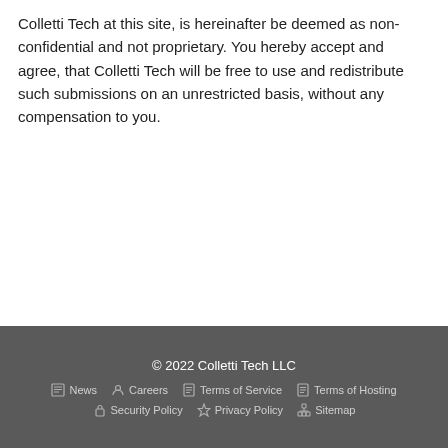Colletti Tech at this site, is hereinafter be deemed as non-confidential and not proprietary. You hereby accept and agree, that Colletti Tech will be free to use and redistribute such submissions on an unrestricted basis, without any compensation to you.
© 2022 Colletti Tech LLC | News | Careers | Terms of Service | Terms of Hosting | Security Policy | Privacy Policy | Sitemap